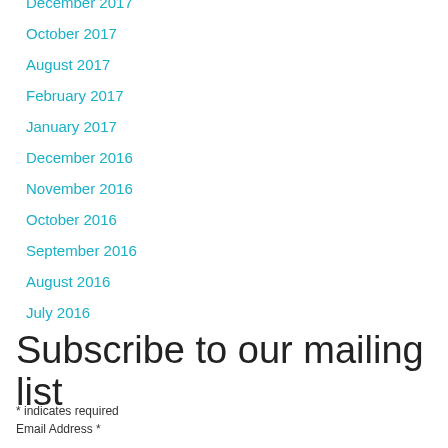December 2017
October 2017
August 2017
February 2017
January 2017
December 2016
November 2016
October 2016
September 2016
August 2016
July 2016
Subscribe to our mailing list
* indicates required
Email Address *